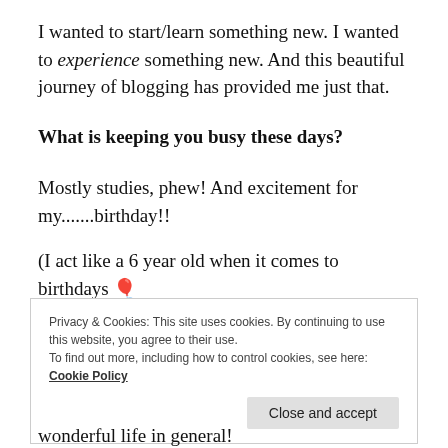I wanted to start/learn something new. I wanted to experience something new. And this beautiful journey of blogging has provided me just that.
What is keeping you busy these days?
Mostly studies, phew! And excitement for my.......birthday!!
(I act like a 6 year old when it comes to birthdays 🎈 😁 )
Privacy & Cookies: This site uses cookies. By continuing to use this website, you agree to their use.
To find out more, including how to control cookies, see here: Cookie Policy
Close and accept
wonderful life in general!